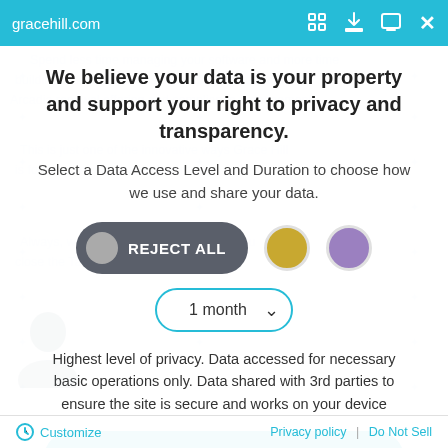gracehill.com
We believe your data is your property and support your right to privacy and transparency.
Select a Data Access Level and Duration to choose how we use and share your data.
[Figure (screenshot): Three option buttons: a dark rounded button labeled REJECT ALL with a grey circle icon, a gold circle button, and a purple circle button]
[Figure (screenshot): Dropdown selector showing '1 month' with a chevron down arrow, bordered in teal/cyan]
Highest level of privacy. Data accessed for necessary basic operations only. Data shared with 3rd parties to ensure the site is secure and works on your device
[Figure (screenshot): Large teal/cyan rounded button labeled 'Save my preferences']
Customize   Privacy policy   Do Not Sell